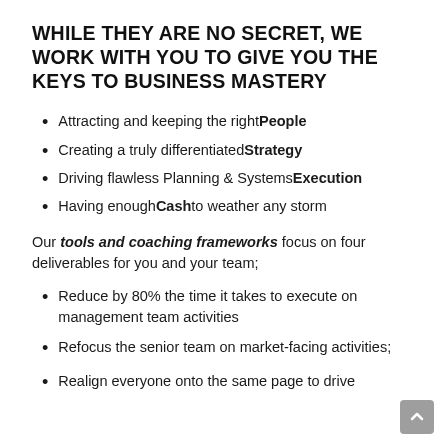WHILE THEY ARE NO SECRET, WE WORK WITH YOU TO GIVE YOU THE KEYS TO BUSINESS MASTERY
Attracting and keeping the right People
Creating a truly differentiated Strategy
Driving flawless Planning & Systems Execution
Having enough Cash to weather any storm
Our tools and coaching frameworks focus on four deliverables for you and your team;
Reduce by 80% the time it takes to execute on management team activities
Refocus the senior team on market-facing activities;
Realign everyone onto the same page to drive